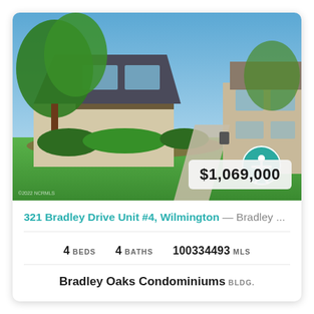[Figure (photo): Exterior photo of a two-story condominium with dark shingle siding, large windows, beige lower walls, surrounded by green trees and landscaped shrubs with a concrete walkway. Blue sky background. Accessibility icon overlay (teal circle with white figure). Price badge showing $1,069,000 in lower right.]
321 Bradley Drive Unit #4, Wilmington — Bradley ...
4 BEDS   4 BATHS   100334493 MLS
Bradley Oaks Condominiums BLDG.